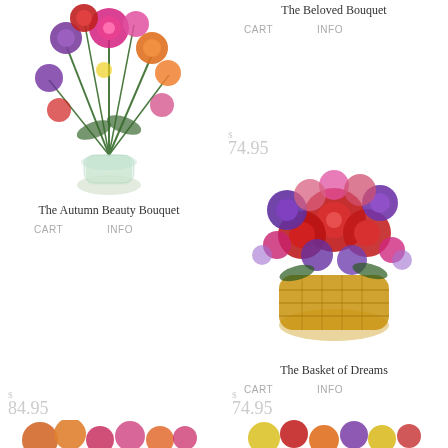[Figure (photo): Colorful flower bouquet with purple, pink, orange and red flowers in a glass vase]
The Autumn Beauty Bouquet
CART    INFO
The Beloved Bouquet
CART    INFO
$ 74.95
[Figure (photo): Round arrangement of red roses and purple flowers in a woven basket]
The Basket of Dreams
CART    INFO
$ 84.95
[Figure (photo): Colorful bouquet with orange lilies and pink flowers]
$ 74.95
[Figure (photo): Bright arrangement with yellow, red, orange and purple flowers in a low basket]